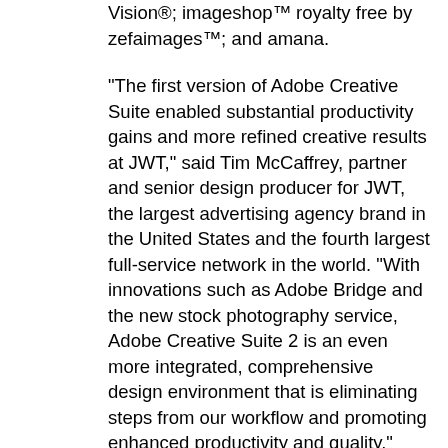Vision®; imageshop™ royalty free by zefaimages™; and amana.
"The first version of Adobe Creative Suite enabled substantial productivity gains and more refined creative results at JWT," said Tim McCaffrey, partner and senior design producer for JWT, the largest advertising agency brand in the United States and the fourth largest full-service network in the world. "With innovations such as Adobe Bridge and the new stock photography service, Adobe Creative Suite 2 is an even more integrated, comprehensive design environment that is eliminating steps from our workflow and promoting enhanced productivity and quality."
Enhanced Collaboration, Color Consistency and Reliable PDF Creation
Version Cue CS2, a powerful file-version manager and collaboration tool, helps users visually preview, track and access historical and alternate versions of files in Adobe Creative Suite 2 projects. Workgroup users can easily share their work, and can now initiate a Web-based collaborative review of PDF project files. Using a single dialog box in